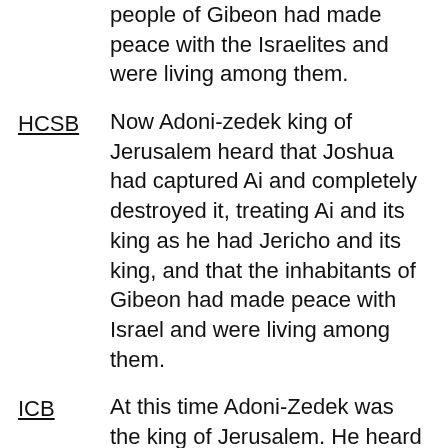people of Gibeon had made peace with the Israelites and were living among them.
HCSB: Now Adoni-zedek king of Jerusalem heard that Joshua had captured Ai and completely destroyed it, treating Ai and its king as he had Jericho and its king, and that the inhabitants of Gibeon had made peace with Israel and were living among them.
ICB: At this time Adoni-Zedek was the king of Jerusalem. He heard that Joshua had defeated Ai and completely destroyed it. He learned that Joshua had done the same thing to Jericho and its king. The king also learned that the Gibeonites had made a peace agreement with Israel. And they lived very near Jerusalem.
ISV: King Adoni-zedek of Jerusalem